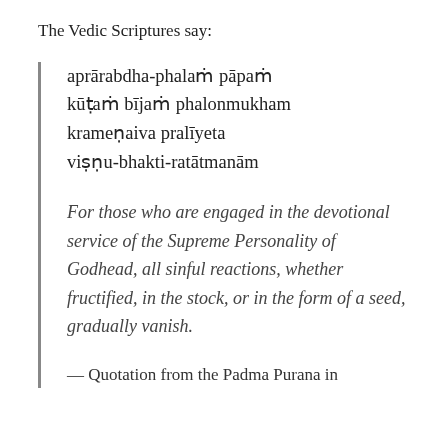The Vedic Scriptures say:
aprārabdha-phalaṁ pāpaṁ kūṭaṁ bījaṁ phalonmukham krameṇaiva pralīyeta viṣṇu-bhakti-ratātmanām
For those who are engaged in the devotional service of the Supreme Personality of Godhead, all sinful reactions, whether fructified, in the stock, or in the form of a seed, gradually vanish.
— Quotation from the Padma Purana in